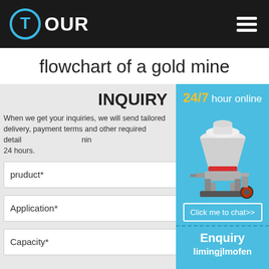TOUR
flowchart of a gold mine
INQUIRY
When we get your inquiries, we will send tailored delivery, payment terms and other required detail within 24 hours.
pruduct*
Application*
Capacity*
24/7 hour online
Click me to chat>>
Enquiry
limingjlmofen